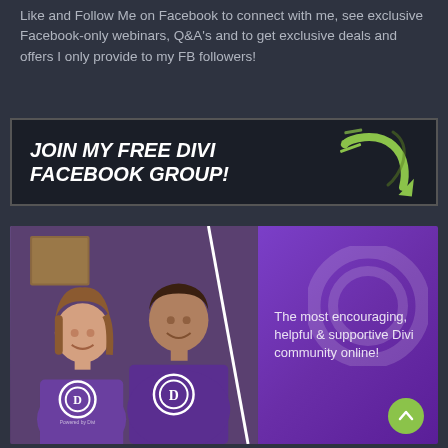Like and Follow Me on Facebook to connect with me, see exclusive Facebook-only webinars, Q&A's and to get exclusive deals and offers I only provide to my FB followers!
[Figure (infographic): Dark banner with white bold italic text reading 'JOIN MY FREE DIVI FACEBOOK GROUP!' and a green arrow graphic on the right]
[Figure (photo): Two people wearing purple Divi-branded t-shirts smiling, with a purple background on the right side containing text: 'The most encouraging, helpful & supportive Divi community online!']